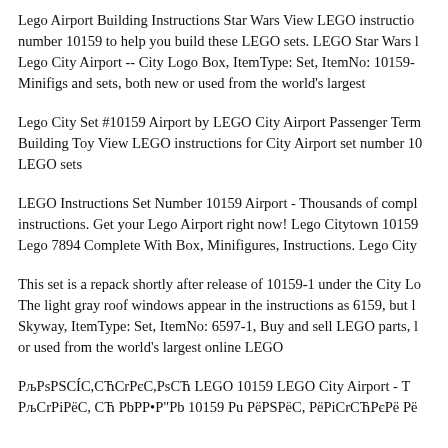Lego Airport Building Instructions Star Wars View LEGO instructions number 10159 to help you build these LEGO sets. LEGO Star Wars Lego City Airport -- City Logo Box, ItemType: Set, ItemNo: 10159- Minifigs and sets, both new or used from the world's largest
Lego City Set #10159 Airport by LEGO City Airport Passenger Terminal Building Toy View LEGO instructions for City Airport set number 10 LEGO sets
LEGO Instructions Set Number 10159 Airport - Thousands of complete instructions. Get your Lego Airport right now! Lego Citytown 10159 Lego 7894 Complete With Box, Minifigures, Instructions. Lego City
This set is a repack shortly after release of 10159-1 under the City Logo The light gray roof windows appear in the instructions as 6159, but Skyway, ItemType: Set, ItemNo: 6597-1, Buy and sell LEGO parts, or used from the world's largest online LEGO
РљРsPSCÍC,CЋCrРєC,PsCЋ LEGO 10159 LEGO City Airport - РљCrРiРёC,CЋ РP РP"Рb 10159 Рu РёРSРёC, РёРiCrCЋРєРё Рë